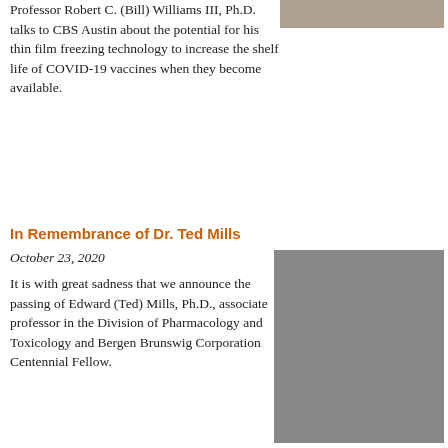Professor Robert C. (Bill) Williams III, Ph.D. talks to CBS Austin about the potential for his thin film freezing technology to increase the shelf life of COVID-19 vaccines when they become available.
[Figure (photo): Partial photo at top of page, appears to be a food/lab item on a surface]
In Remembrance of Dr. Ted Mills
October 23, 2020
It is with great sadness that we announce the passing of Edward (Ted) Mills, Ph.D., associate professor in the Division of Pharmacology and Toxicology and Bergen Brunswig Corporation Centennial Fellow.
[Figure (photo): Professional headshot of Dr. Ted Mills, a bald man in a suit against a gray background]
A Message from M. Lynn Crismon on His Last Day as Dean
October 14, 2020
UT College of Pharmacy Dean M. Lynn Crismon gives
[Figure (photo): Photo of an older man with glasses outdoors with trees in background]